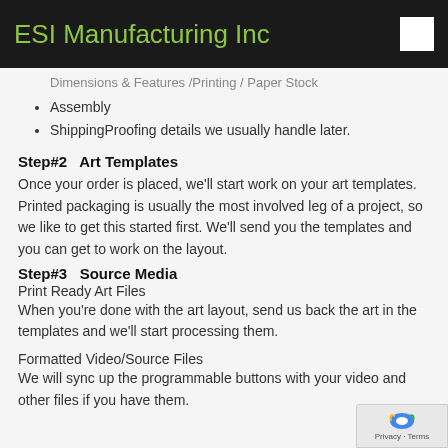ESI Manufacturing Inc
Dimensions & Features /Printing / Paper Stock
Assembly
ShippingProofing details we usually handle later.
Step#2   Art Templates
Once your order is placed, we'll start work on your art templates. Printed packaging is usually the most involved leg of a project, so we like to get this started first. We'll send you the templates and you can get to work on the layout.
Step#3   Source Media
Print Ready Art Files
When you're done with the art layout, send us back the art in the templates and we'll start processing them.
Formatted Video/Source Files
We will sync up the programmable buttons with your video and other files if you have them.